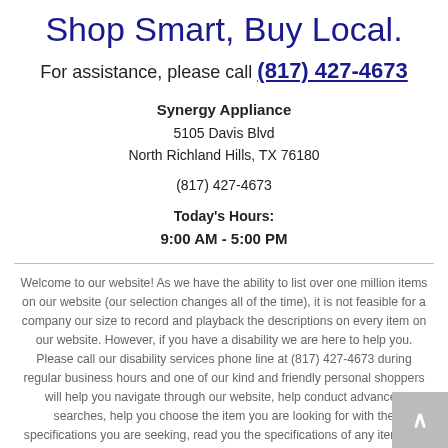Shop Smart, Buy Local.
For assistance, please call (817) 427-4673
Synergy Appliance
5105 Davis Blvd
North Richland Hills, TX 76180
(817) 427-4673
Today's Hours:
9:00 AM - 5:00 PM
Welcome to our website! As we have the ability to list over one million items on our website (our selection changes all of the time), it is not feasible for a company our size to record and playback the descriptions on every item on our website. However, if you have a disability we are here to help you. Please call our disability services phone line at (817) 427-4673 during regular business hours and one of our kind and friendly personal shoppers will help you navigate through our website, help conduct advanced searches, help you choose the item you are looking for with the specifications you are seeking, read you the specifications of any item and consult with you about the products themselves. There is no charge for the help of this personal shopper for anyone with a disability. Finally, your